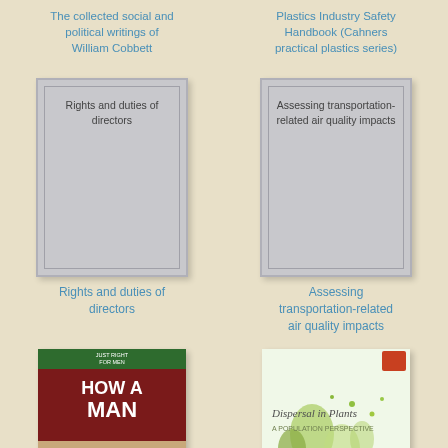The collected social and political writings of William Cobbett
Plastics Industry Safety Handbook (Cahners practical plastics series)
[Figure (illustration): Placeholder book cover — grey rectangle with inner border, text: Rights and duties of directors]
[Figure (illustration): Placeholder book cover — grey rectangle with inner border, text: Assessing transportation-related air quality impacts]
Rights and duties of directors
Assessing transportation-related air quality impacts
[Figure (photo): Book cover: How a Man Handles — green top bar with 'JUST RIGHT FOR MEN', dark red title area with 'HOW A MAN HANDLES' in white]
[Figure (photo): Book cover: Dispersal in Plants — A Population Perspective, light green background with plant/seed illustrations]